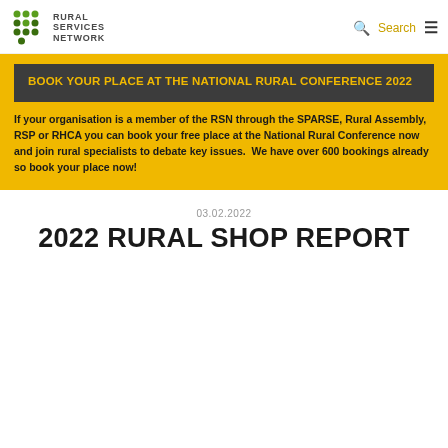RURAL SERVICES NETWORK — Search
BOOK YOUR PLACE AT THE NATIONAL RURAL CONFERENCE 2022
If your organisation is a member of the RSN through the SPARSE, Rural Assembly, RSP or RHCA you can book your free place at the National Rural Conference now and join rural specialists to debate key issues.  We have over 600 bookings already so book your place now!
03.02.2022
2022 RURAL SHOP REPORT